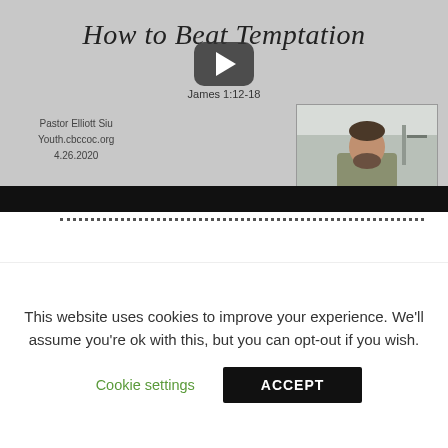[Figure (screenshot): Video thumbnail showing title 'How to Beat Temptation', subtitle 'James 1:12-18', presenter info 'Pastor Elliott Siu / Youth.cbccoc.org / 4.26.2020', with a play button overlay and a small photo of the presenter in the lower right.]
This website uses cookies to improve your experience. We'll assume you're ok with this, but you can opt-out if you wish.
Cookie settings
ACCEPT